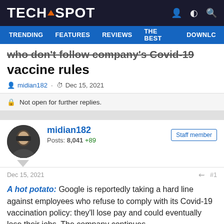TECHSPOT
TRENDING  FEATURES  REVIEWS  THE BEST  DOWNLC
who don't follow company's Covid-19 vaccine rules
midian182 · Dec 15, 2021
Not open for further replies.
midian182
Posts: 8,041  +89
Staff member
Dec 15, 2021   #1
A hot potato: Google is reportedly taking a hard line against employees who refuse to comply with its Covid-19 vaccination policy: they'll lose pay and could eventually lose their jobs. The company continues